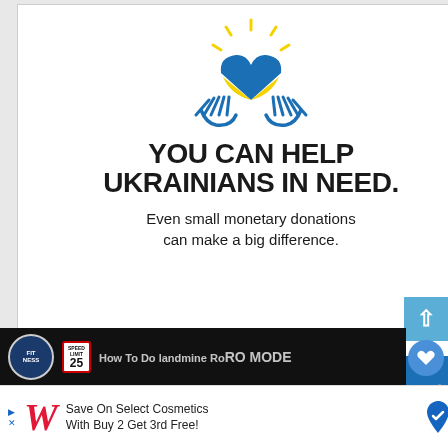[Figure (infographic): Ad banner: Ukrainian charity donation ad with blue/yellow heart held by hands icon. Text: YOU CAN HELP UKRAINIANS IN NEED. Even small monetary donations can make a big difference. Blue footer with Ad Council logo and DONATE TODAY arrow button in yellow.]
[Figure (infographic): Partial video thumbnail showing a fitness logo, speed limit sign, and overlaid text 'How To Do Landmine Ro...' and 'RO MODE' in dark background.]
[Figure (infographic): Bottom advertisement banner: Walgreens cursive W logo. Text: Save On Select Cosmetics With Buy 2 Get 3rd Free! Blue map pin icon on right.]